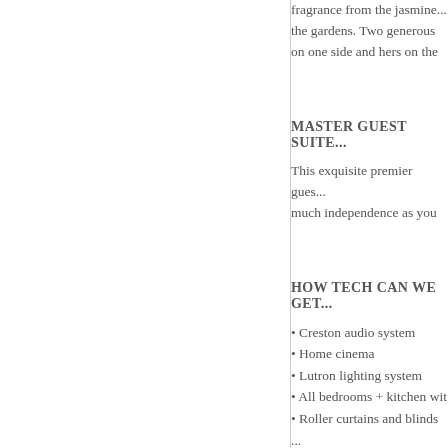fragrance from the jasmine... the gardens. Two generous on one side and hers on the
MASTER GUEST SUITE...
This exquisite premier gues... much independence as you
HOW TECH CAN WE GET...
Creston audio system
Home cinema
Lutron lighting system
All bedrooms + kitchen wit
Roller curtains and blinds ...
Electric Generator 65 KW
3 high efficiency Heat Pum
Under floor heating throug
Black water cleaning syst...